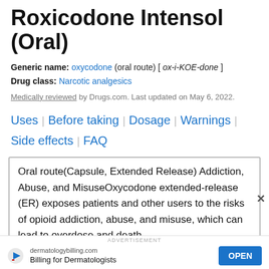Roxicodone Intensol (Oral)
Generic name: oxycodone (oral route) [ ox-i-KOE-done ]
Drug class: Narcotic analgesics
Medically reviewed by Drugs.com. Last updated on May 6, 2022.
Uses | Before taking | Dosage | Warnings | Side effects | FAQ
Oral route(Capsule, Extended Release) Addiction, Abuse, and MisuseOxycodone extended-release (ER) exposes patients and other users to the risks of opioid addiction, abuse, and misuse, which can lead to overdose and death
ADVERTISEMENT
dermatologybilling.com Billing for Dermatologists OPEN